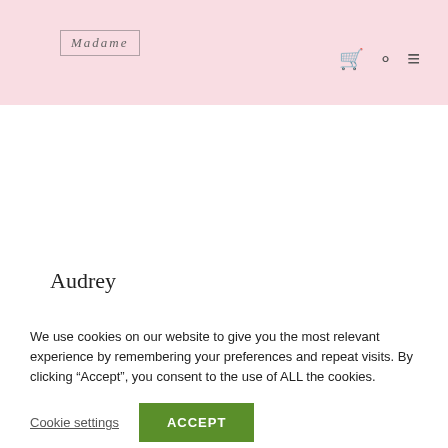Madame [logo with nav icons: cart, search, menu]
Audrey
We use cookies on our website to give you the most relevant experience by remembering your preferences and repeat visits. By clicking “Accept”, you consent to the use of ALL the cookies.
Cookie settings | ACCEPT